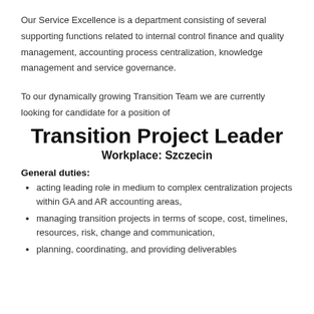Our Service Excellence is a department consisting of several supporting functions related to internal control finance and quality management, accounting process centralization, knowledge management and service governance.
To our dynamically growing Transition Team we are currently looking for candidate for a position of
Transition Project Leader
Workplace: Szczecin
General duties:
acting leading role in medium to complex centralization projects within GA and AR accounting areas,
managing transition projects in terms of scope, cost, timelines, resources, risk, change and communication,
planning, coordinating, and providing deliverables